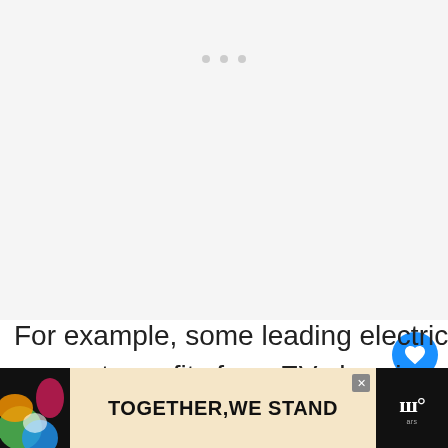[Figure (other): Light gray placeholder area with three gray dots at the top center, representing a loading/empty image carousel.]
For example, some leading electric car companies don't want to generate profits from EV charging at all. Similarly, some leading technology giants only use EV charging technology as a source of side income.
[Figure (other): Advertisement banner at the bottom: colorful shapes on left, cream background with bold text 'TOGETHER, WE STAND', close button, and a logo on the right.]